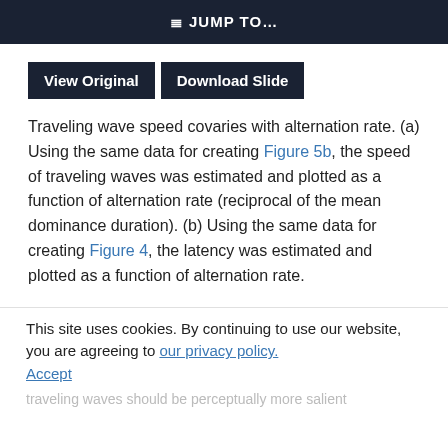≡D JUMP TO…
View Original   Download Slide
Traveling wave speed covaries with alternation rate. (a) Using the same data for creating Figure 5b, the speed of traveling waves was estimated and plotted as a function of alternation rate (reciprocal of the mean dominance duration). (b) Using the same data for creating Figure 4, the latency was estimated and plotted as a function of alternation rate.
This site uses cookies. By continuing to use our website, you are agreeing to our privacy policy. Accept
traveling waves should be perceptually more salient